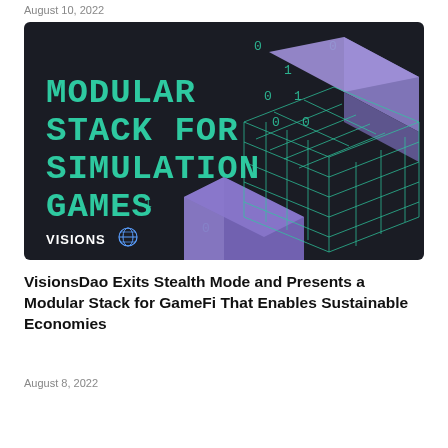August 10, 2022
[Figure (illustration): Dark background banner image with teal pixel-style text reading 'MODULAR STACK FOR SIMULATION GAMES' with floating binary digits (0s and 1s) and a 3D isometric grid cube structure alongside purple block shapes on the right side. 'VISIONS' logo and globe icon appear in the lower left.]
VisionsDao Exits Stealth Mode and Presents a Modular Stack for GameFi That Enables Sustainable Economies
August 8, 2022